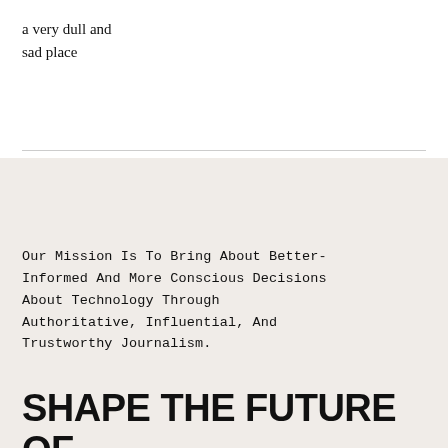a very dull and sad place
Our Mission Is To Bring About Better-Informed And More Conscious Decisions About Technology Through Authoritative, Influential, And Trustworthy Journalism.
SHAPE THE FUTURE OF TECH